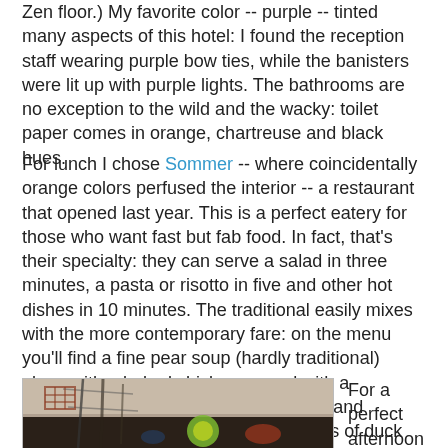Zen floor.) My favorite color -- purple -- tinted many aspects of this hotel: I found the reception staff wearing purple bow ties, while the banisters were lit up with purple lights. The bathrooms are no exception to the wild and the wacky: toilet paper comes in orange, chartreuse and black hues.
For lunch I chose Sommer -- where coincidentally orange colors perfused the interior -- a restaurant that opened last year. This is a perfect eatery for those who want fast but fab food. In fact, that's their specialty: they can serve a salad in three minutes, a pasta or risotto in five and other hot dishes in 10 minutes. The traditional easily mixes with the more contemporary fare: on the menu you'll find a fine pear soup (hardly traditional) along with a baked chicken served with a traditional farinheira, mashed potatoes and apples. I chose a salad with moist strips of duck breast and drizzled with a marinate of figs and port wine. The most popular dishes are the risottos, such as the one featuring spinach and beans.
[Figure (photo): Outdoor photo showing graffiti or street art on a wall, with colorful imagery including a green/yellow design and dark background elements resembling scaffolding or branches.]
For a perfect afternoon refresher, stop in